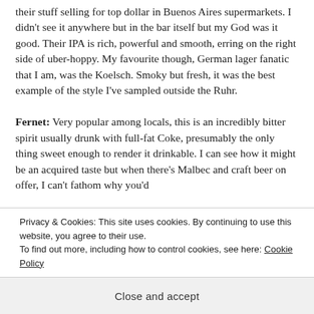their stuff selling for top dollar in Buenos Aires supermarkets. I didn't see it anywhere but in the bar itself but my God was it good. Their IPA is rich, powerful and smooth, erring on the right side of uber-hoppy. My favourite though, German lager fanatic that I am, was the Koelsch. Smoky but fresh, it was the best example of the style I've sampled outside the Ruhr. Fernet: Very popular among locals, this is an incredibly bitter spirit usually drunk with full-fat Coke, presumably the only thing sweet enough to render it drinkable. I can see how it might be an acquired taste but when there's Malbec and craft beer on offer, I can't fathom why you'd
Privacy & Cookies: This site uses cookies. By continuing to use this website, you agree to their use. To find out more, including how to control cookies, see here: Cookie Policy
Close and accept